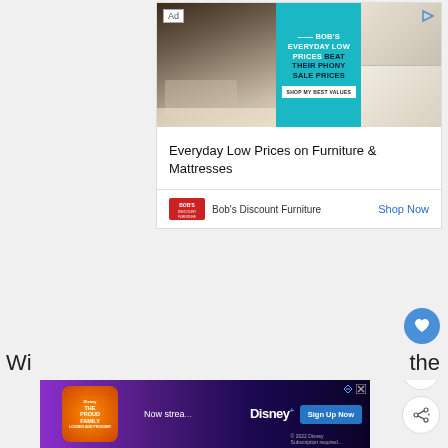[Figure (screenshot): Bob's Discount Furniture advertisement showing bedroom and living room furniture with teal background and text: BOB'S EVERYDAY LOW PRICES BEAT THEIR PHONY SALE PRICES. Shop My Best Values button shown.]
Everyday Low Prices on Furniture & Mattresses
Bob's Discount Furniture
Shop Now
1
[Figure (screenshot): Disney+ advertisement for The Proud Family streaming show with Sign Up Now button]
Wi... ...bout the